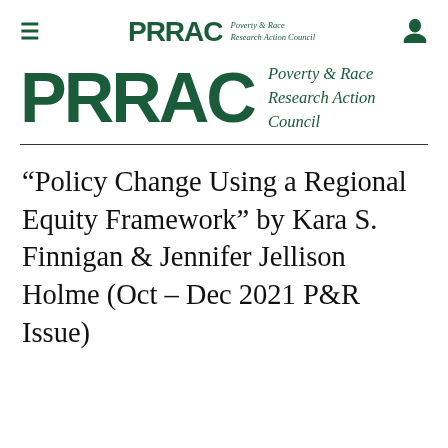PRRAC Poverty & Race Research Action Council
[Figure (logo): PRRAC Poverty & Race Research Action Council large logo with dark green text]
“Policy Change Using a Regional Equity Framework” by Kara S. Finnigan & Jennifer Jellison Holme (Oct – Dec 2021 P&R Issue)